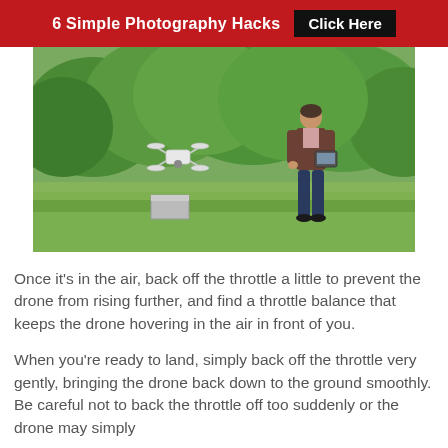6 Simple Photography Hacks  Click Here
[Figure (photo): Man standing in a grassy field holding a drone controller/tablet, with a small quadcopter drone hovering in front of him. Dense green trees in the background.]
Once it's in the air, back off the throttle a little to prevent the drone from rising further, and find a throttle balance that keeps the drone hovering in the air in front of you.
When you're ready to land, simply back off the throttle very gently, bringing the drone back down to the ground smoothly. Be careful not to back the throttle off too suddenly or the drone may simply